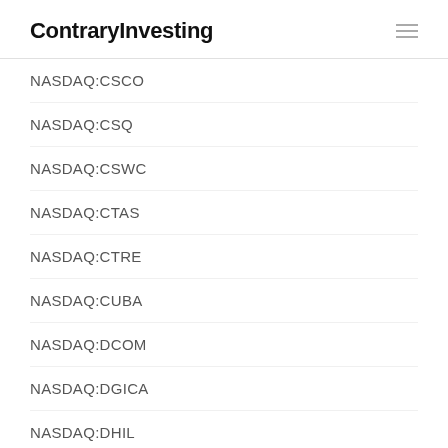ContraryInvesting
NASDAQ:CSCO
NASDAQ:CSQ
NASDAQ:CSWC
NASDAQ:CTAS
NASDAQ:CTRE
NASDAQ:CUBA
NASDAQ:DCOM
NASDAQ:DGICA
NASDAQ:DHIL
This website uses cookies to improve your experience. We'll assume you're ok with this, but you can opt-out if you wish. Cookie settings ACCEPT